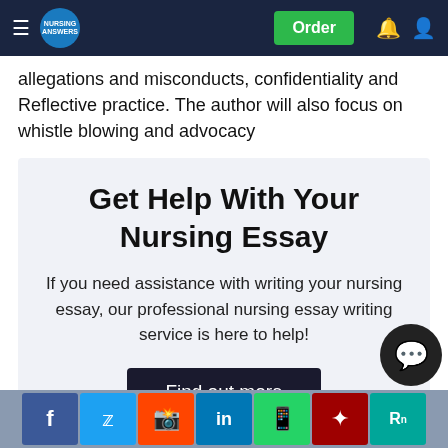Nursing Answers — Order | notification | account
allegations and misconducts, confidentiality and Reflective practice. The author will also focus on whistle blowing and advocacy
[Figure (infographic): Promotional box with heading 'Get Help With Your Nursing Essay', body text 'If you need assistance with writing your nursing essay, our professional nursing essay writing service is here to help!', and a dark button 'Find out more']
Social sharing buttons: Facebook, Twitter, Reddit, LinkedIn, WhatsApp, Mendeley, ResearchGate